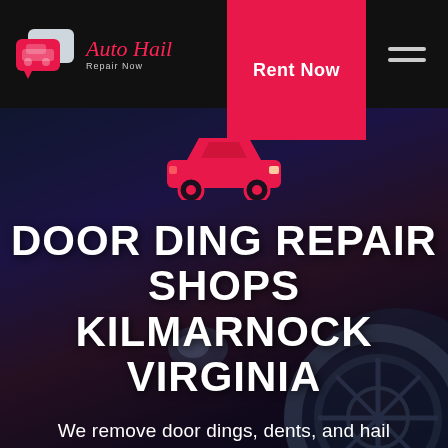[Figure (logo): Auto Hail Repair Now logo with pink/red speech bubble car icons on black header bar]
Rent Now
[Figure (illustration): Red car silhouette icon centered above hero text on dark stormy background with car wheel visible]
DOOR DING REPAIR SHOPS KILMARNOCK VIRGINIA
We remove door dings, dents, and hail